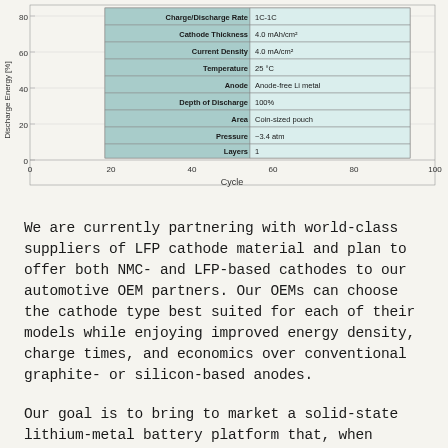[Figure (other): Battery cycling chart (Discharge Energy [%] vs Cycle, 0-100 cycles, 0-80%) with an embedded table of test conditions showing Charge/Discharge Rate 1C-1C, Cathode Thickness 4.0 mAh/cm², Current Density 4.0 mA/cm², Temperature 25°C, Anode Anode-free Li metal, Depth of Discharge 100%, Area Coin-sized pouch, Pressure ~3.4 atm, Layers 1]
We are currently partnering with world-class suppliers of LFP cathode material and plan to offer both NMC- and LFP-based cathodes to our automotive OEM partners. Our OEMs can choose the cathode type best suited for each of their models while enjoying improved energy density, charge times, and economics over conventional graphite- or silicon-based anodes.
Our goal is to bring to market a solid-state lithium-metal battery platform that, when matched with the